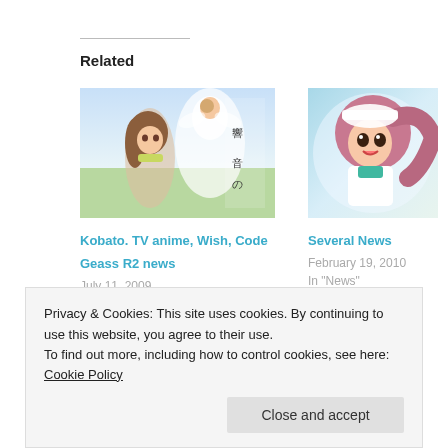Related
[Figure (illustration): Anime illustration from Kobato manga/anime showing a girl with brown hair and fantasy background with Japanese text]
[Figure (illustration): Anime illustration showing a girl with pink/brown hair smiling, wearing white and teal outfit]
Kobato. TV anime, Wish, Code Geass R2 news
July 11, 2009
In "News"
Several News
February 19, 2010
In "News"
Kobato. TV Anime #07
Privacy & Cookies: This site uses cookies. By continuing to use this website, you agree to their use.
To find out more, including how to control cookies, see here: Cookie Policy
Close and accept